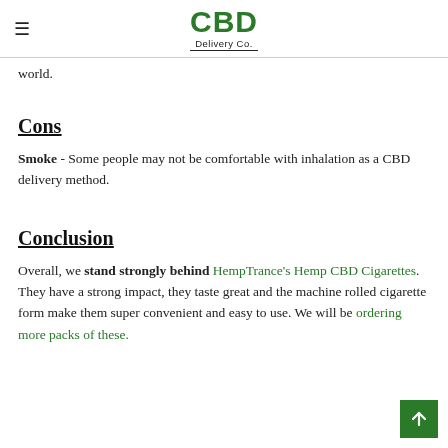CBD Delivery Co.
world.
Cons
Smoke - Some people may not be comfortable with inhalation as a CBD delivery method.
Conclusion
Overall, we stand strongly behind HempTrance's Hemp CBD Cigarettes. They have a strong impact, they taste great and the machine rolled cigarette form make them super convenient and easy to use. We will be ordering more packs of these.